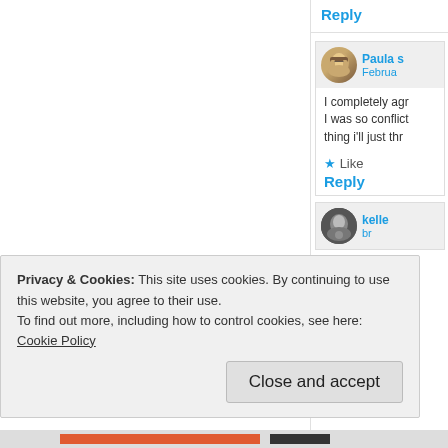Reply
Paula s
Februa
I completely agr
I was so conflict
thing i'll just thr
Like
Reply
kelle
br
Privacy & Cookies: This site uses cookies. By continuing to use this website, you agree to their use.
To find out more, including how to control cookies, see here: Cookie Policy
Close and accept